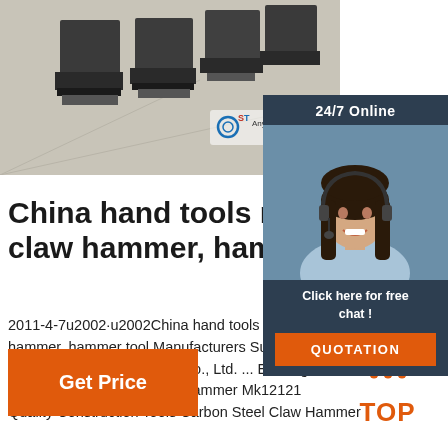[Figure (photo): Industrial machinery (large metal equipment units) lined up on a concrete factory floor, partially visible with a watermark/logo overlay reading 'ST Any']
[Figure (infographic): 24/7 Online sidebar panel with photo of smiling woman with headset, 'Click here for free chat!' text, and orange QUOTATION button]
China hand tools manufactur claw hammer, hammer tool
2011-4-7u2002·u2002China hand tools suppli hammer, hammer tool Manufacturers Supplier Changzhou Newway Tools Co., Ltd. ... Estwing Head Mini Carpenter Claw Hammer Mk12121 Quality Construction Tools Carbon Steel Claw Hammer
[Figure (other): Orange 'Get Price' button]
[Figure (logo): TOP badge with orange dot triangle above bold orange TOP text]